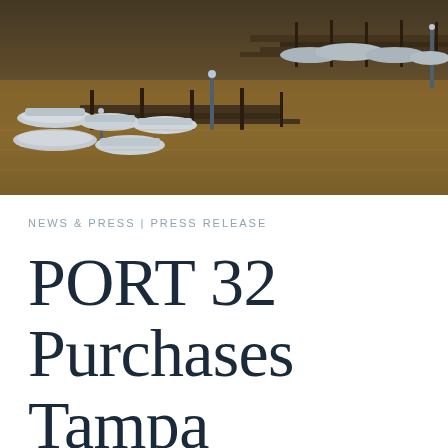[Figure (photo): Aerial view of a marina at dusk with boats docked at wooden piers, warm amber/golden water reflections]
NEWS & PRESS | PRESS RELEASE
PORT 32 Purchases Tampa Harbour